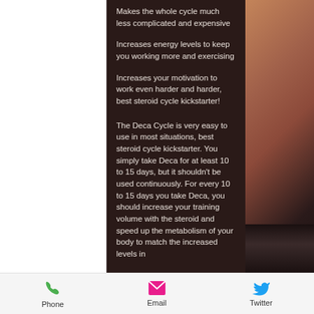Makes the whole cycle much less complicated and expensive
Increases energy levels to keep you working more and exercising
Increases your motivation to work even harder and harder, best steroid cycle kickstarter!
The Deca Cycle is very easy to use in most situations, best steroid cycle kickstarter. You simply take Deca for at least 10 to 15 days, but it shouldn't be used continuously. For every 10 to 15 days you take Deca, you should increase your training volume with the steroid and speed up the metabolism of your body to match the increased levels in
Phone  Email  Twitter